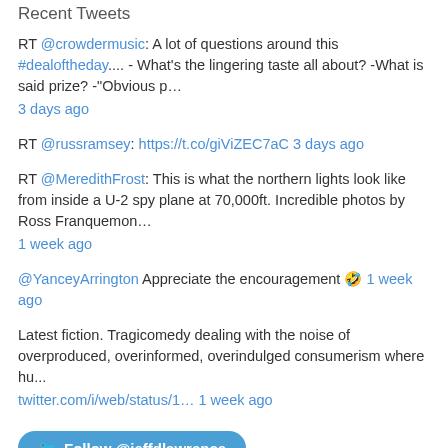Recent Tweets
RT @crowdermusic: A lot of questions around this #dealoftheday.... - What's the lingering taste all about? -What is said prize? -"Obvious p…
3 days ago
RT @russramsey: https://t.co/giViZEC7aC 3 days ago
RT @MeredithFrost: This is what the northern lights look like from inside a U-2 spy plane at 70,000ft. Incredible photos by Ross Franquemon…
1 week ago
@YanceyArrington Appreciate the encouragement 🤣 1 week ago
Latest fiction. Tragicomedy dealing with the noise of overproduced, overinformed, overindulged consumerism where hu...
twitter.com/i/web/status/1… 1 week ago
Follow @jeffdlawrence
Archives